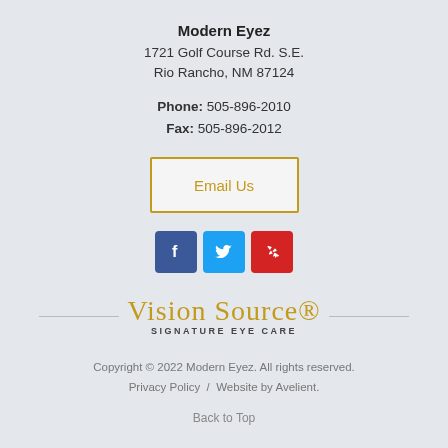Modern Eyez
1721 Golf Course Rd. S.E.
Rio Rancho, NM 87124
Phone: 505-896-2010
Fax: 505-896-2012
[Figure (other): Email Us button with gold border]
[Figure (other): Social media icons: Facebook, Twitter, Yelp]
[Figure (logo): Vision Source Signature Eye Care logo with decorative script]
Copyright © 2022 Modern Eyez. All rights reserved.
Privacy Policy   /   Website by Avelient.
Back to Top